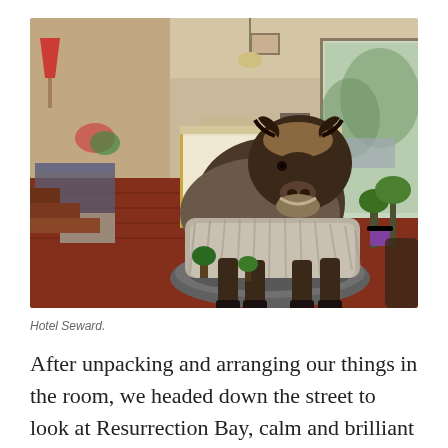[Figure (photo): Interior of Hotel Seward lobby featuring a large taxidermied musk ox standing on a rock display near the reception desk. The lobby has patterned red carpet, a couch visible on the left, plants and greenery around the display, windows showing daylight outside, and decorative items on the counter.]
Hotel Seward.
After unpacking and arranging our things in the room, we headed down the street to look at Resurrection Bay, calm and brilliant in the sunshine.